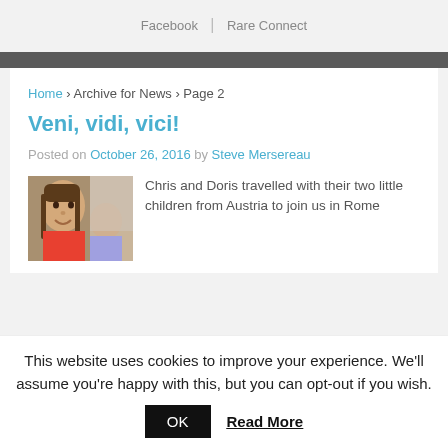Facebook | Rare Connect
Home › Archive for News › Page 2
Veni, vidi, vici!
Posted on October 26, 2016 by Steve Mersereau
[Figure (photo): Photo of a man with long hair smiling, with another person partially visible, outdoors.]
Chris and Doris travelled with their two little children from Austria to join us in Rome
This website uses cookies to improve your experience. We'll assume you're happy with this, but you can opt-out if you wish.